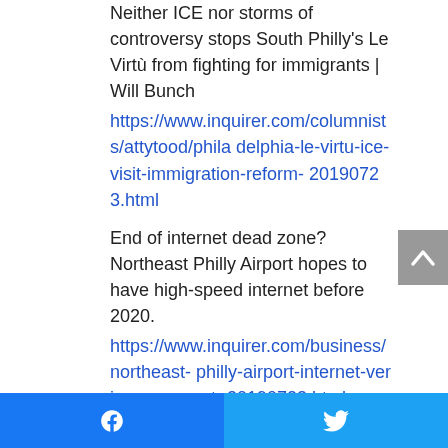Neither ICE nor storms of controversy stops South Philly's Le Virtù from fighting for immigrants | Will Bunch
https://www.inquirer.com/columnists/attytood/philadelphia-le-virtu-ice-visit-immigration-reform-20190723.html
End of internet dead zone? Northeast Philly Airport hopes to have high-speed internet before 2020.
https://www.inquirer.com/business/northeast-philly-airport-internet-verizon-comcast-20190723.html
Judge rules against Philly's assessments of high
[Figure (other): Scroll to top button (gray arrow up)]
[Figure (other): Facebook share button (blue with Facebook icon)]
[Figure (other): Twitter share button (blue with Twitter bird icon)]